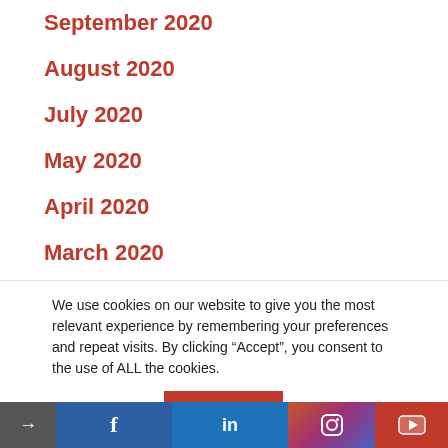September 2020
August 2020
July 2020
May 2020
April 2020
March 2020
February 2020
January 2020
We use cookies on our website to give you the most relevant experience by remembering your preferences and repeat visits. By clicking “Accept”, you consent to the use of ALL the cookies.
Cookie settings | ACCEPT | [social icons: arrow, facebook, linkedin, instagram, youtube]